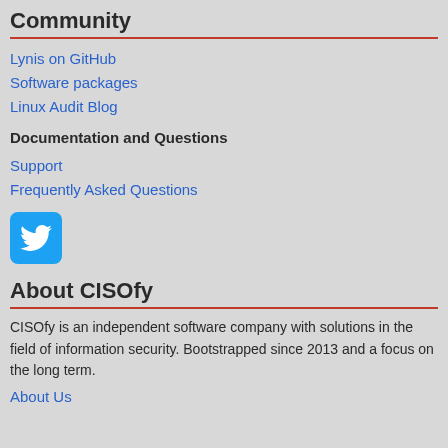Community
Lynis on GitHub
Software packages
Linux Audit Blog
Documentation and Questions
Support
Frequently Asked Questions
[Figure (logo): Twitter bird logo icon in white on a blue rounded square background]
About CISOfy
CISOfy is an independent software company with solutions in the field of information security. Bootstrapped since 2013 and a focus on the long term.
About Us